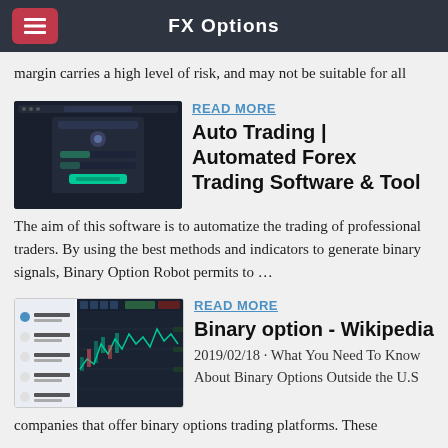FX Options
margin carries a high level of risk, and may not be suitable for all
[Figure (screenshot): Dark-themed trading software registration screen UI]
READ MORE
Auto Trading | Automated Forex Trading Software & Tool
The aim of this software is to automatize the trading of professional traders. By using the best methods and indicators to generate binary signals, Binary Option Robot permits to …
[Figure (screenshot): Trading platform screenshot showing charts and binary options interface]
READ MORE
Binary option - Wikipedia
2019/02/18 · What You Need To Know About Binary Options Outside the U.S companies that offer binary options trading platforms. These